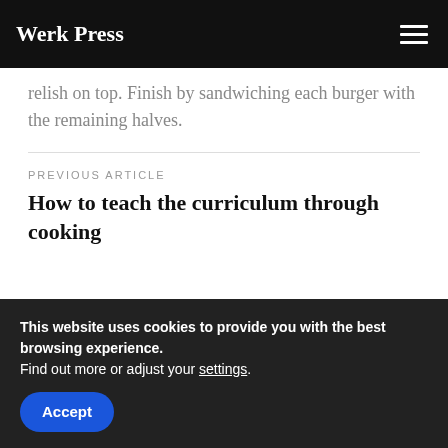Werk Press
relish on top. Finish by sandwiching each burger with the remaining halves.
PREVIOUS ARTICLE
How to teach the curriculum through cooking
This website uses cookies to provide you with the best browsing experience. Find out more or adjust your settings.